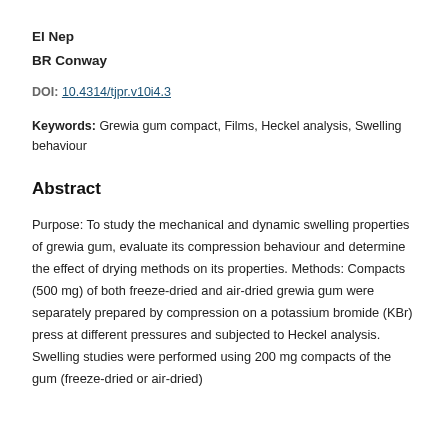El Nep
BR Conway
DOI: 10.4314/tjpr.v10i4.3
Keywords: Grewia gum compact, Films, Heckel analysis, Swelling behaviour
Abstract
Purpose: To study the mechanical and dynamic swelling properties of grewia gum, evaluate its compression behaviour and determine the effect of drying methods on its properties. Methods: Compacts (500 mg) of both freeze-dried and air-dried grewia gum were separately prepared by compression on a potassium bromide (KBr) press at different pressures and subjected to Heckel analysis. Swelling studies were performed using 200 mg compacts of the gum (freeze-dried or air-dried)